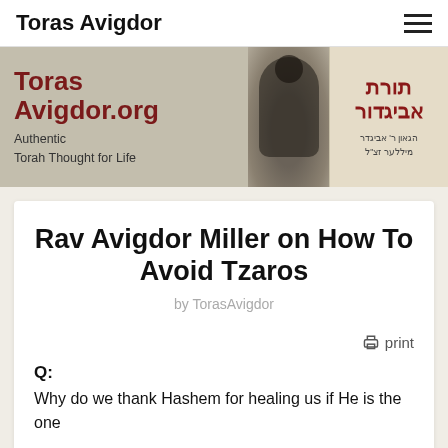Toras Avigdor
[Figure (illustration): TorasAvigdor.org website banner with text 'Toras Avigdor.org – Authentic Torah Thought for Life', a black-and-white photograph of a rabbi at a microphone, and Hebrew text panel reading toras avigdor with subtitle]
Rav Avigdor Miller on How To Avoid Tzaros
by TorasAvigdor
print
Q:
Why do we thank Hashem for healing us if He is the one